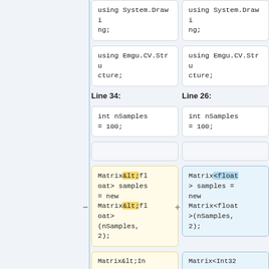using System.Drawing;
using System.Drawing;
using Emgu.CV.Structure;
using Emgu.CV.Structure;
Line 34:
Line 26:
int nSamples = 100;
int nSamples = 100;
Matrix&lt;float> samples = new Matrix&lt;float>(nSamples, 2);
Matrix<float> samples = new Matrix<float>(nSamples, 2);
Matrix&lt;In...
Matrix<Int32...